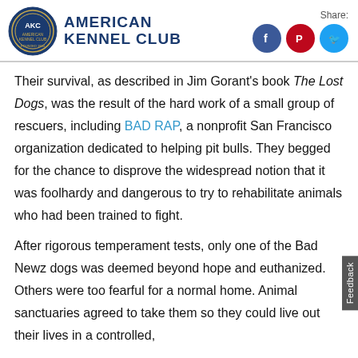American Kennel Club — Share: [Facebook] [Pinterest] [Twitter]
Their survival, as described in Jim Gorant's book The Lost Dogs, was the result of the hard work of a small group of rescuers, including BAD RAP, a nonprofit San Francisco organization dedicated to helping pit bulls. They begged for the chance to disprove the widespread notion that it was foolhardy and dangerous to try to rehabilitate animals who had been trained to fight.
After rigorous temperament tests, only one of the Bad Newz dogs was deemed beyond hope and euthanized. Others were too fearful for a normal home. Animal sanctuaries agreed to take them so they could live out their lives in a controlled,